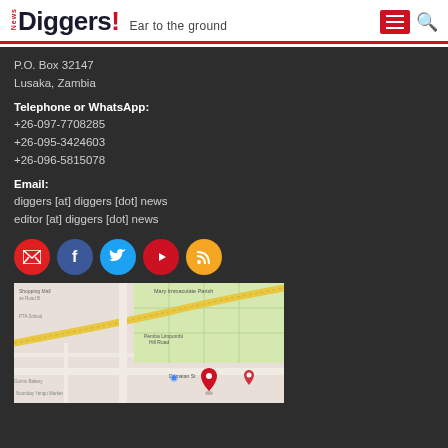News Diggers! Ear to the ground
P.O. Box 32147
Lusaka, Zambia
Telephone or WhatsApp:
+26-097-7708285
+26-095-3424603
+26-096-5815078
Email:
diggers [at] diggers [dot] news
editor [at] diggers [dot] news
[Figure (infographic): Social media icon buttons: email (red), facebook (blue), twitter (light blue), youtube (red), RSS (orange)]
[Figure (map): Google Maps showing location in Lusaka, Zambia near Mary Immaculate Parish, Pemba Limpombi Hill Road, Damatan St, with a red map pin marker]